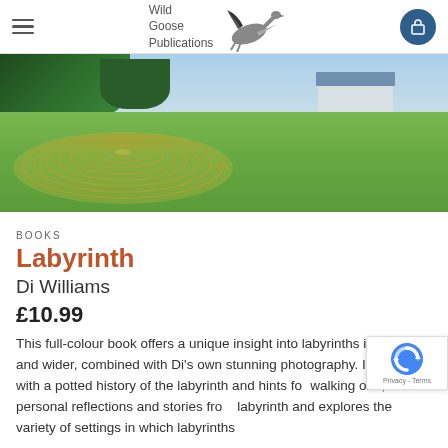Wild Goose Publications
[Figure (photo): Aerial/ground-level photo of a large circular labyrinth mown into grass, with a white house/building visible in the background and trees on the left.]
BOOKS
Labyrinth
Di Williams
£10.99
This full-colour book offers a unique insight into labyrinths in the UK and wider, combined with Di's own stunning photography. It begins with a potted history of the labyrinth and hints for walking one, shares personal reflections and stories from labyrinth and explores the variety of settings in which labyrinths